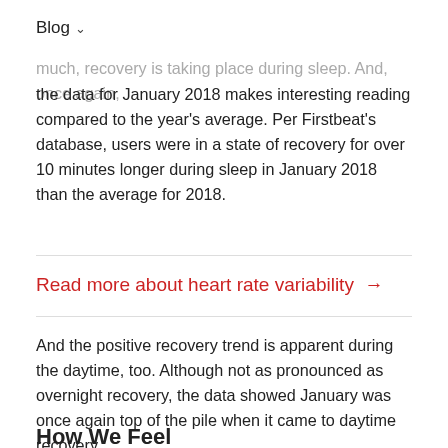Blog ∨
much, recovery is taking place during sleep. And, once again, the data for January 2018 makes interesting reading compared to the year's average. Per Firstbeat's database, users were in a state of recovery for over 10 minutes longer during sleep in January 2018 than the average for 2018.
Read more about heart rate variability →
And the positive recovery trend is apparent during the daytime, too. Although not as pronounced as overnight recovery, the data showed January was once again top of the pile when it came to daytime recovery.
How We Feel